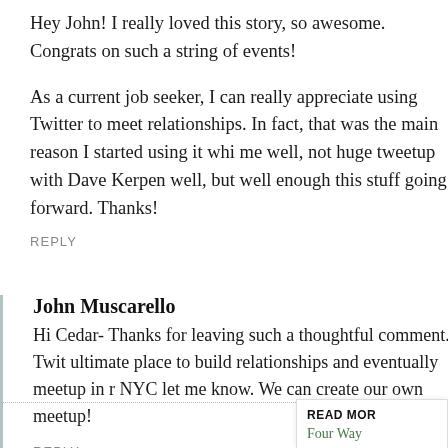Hey John! I really loved this story, so awesome. Congrats on such a string of events!
As a current job seeker, I can really appreciate using Twitter to meet relationships. In fact, that was the main reason I started using it while me well, not huge tweetup with Dave Kerpen well, but well enough this stuff going forward. Thanks!
REPLY
John Muscarello
Hi Cedar- Thanks for leaving such a thoughtful comment. Twitt ultimate place to build relationships and eventually meetup in re NYC let me know. We can create our own meetup!
REPLY
READ MOR
Four Way